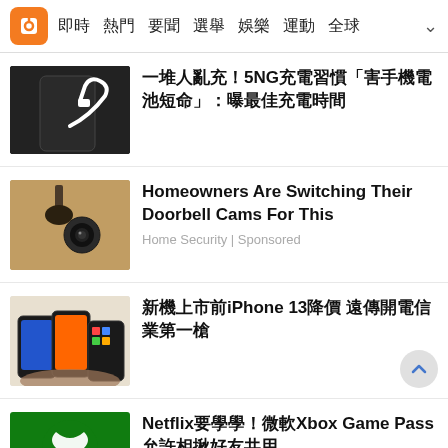即時 熱門 要聞 選舉 娛樂 運動 全球
一堆人亂充！5NG充電習慣「害手機電池短命」：曝最佳充電時間
Homeowners Are Switching Their Doorbell Cams For This — Home Security | Sponsored
新機上市前iPhone 13降價 遠傳開電信業第一槍
Netflix要學學！微軟Xbox Game Pass允許相揪好友共用